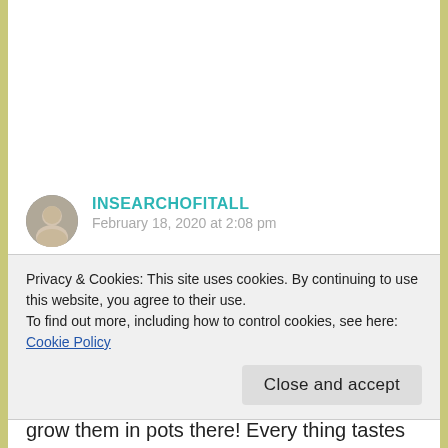INSEARCHOFITALL
February 18, 2020 at 2:08 pm
I try to keep lemons in the house for all the reasons you mentioned here. There was a time living in California that we grew them along with many other fruits in our yard. My son
Privacy & Cookies: This site uses cookies. By continuing to use this website, you agree to their use.
To find out more, including how to control cookies, see here: Cookie Policy
Close and accept
grow them in pots there! Every thing tastes